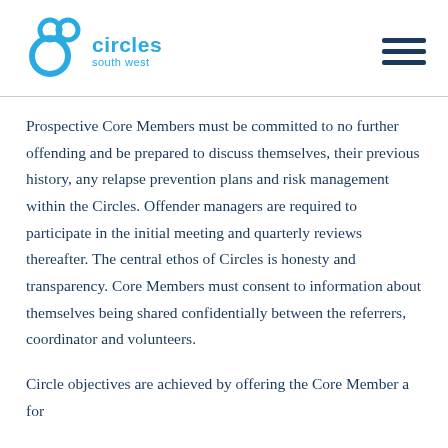[Figure (logo): Circles South West logo — blue interlocking circles icon with 'circles south west' text in cyan/blue]
Prospective Core Members must be committed to no further offending and be prepared to discuss themselves, their previous history, any relapse prevention plans and risk management within the Circles. Offender managers are required to participate in the initial meeting and quarterly reviews thereafter. The central ethos of Circles is honesty and transparency. Core Members must consent to information about themselves being shared confidentially between the referrers, coordinator and volunteers.
Circle objectives are achieved by offering the Core Member a for...